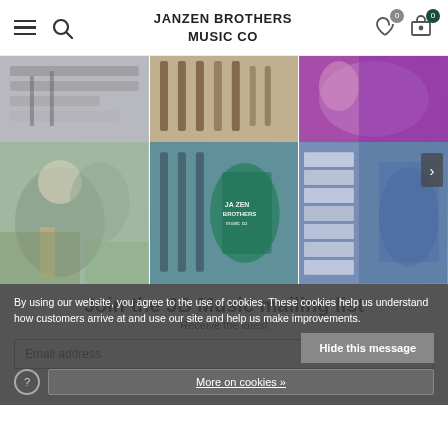JANZEN BROTHERS MUSIC CO
[Figure (photo): Three-column photo grid showing: left column - guitar closeup (top) and person playing electric guitar outdoors (bottom); middle column - guitar shop shelves (top) and guitar shop wall with hanging guitars and person in Janzen Brothers Music Co tshirt (bottom); right column - person at brightly lit shelves with purple items (top) and person browsing record/merchandise shelves (bottom). Navigation arrow on right side.]
Join the JB Music mailing list
Receive the latest
By using our website, you agree to the use of cookies. These cookies help us understand how customers arrive at and use our site and help us make improvements.
Hide this message
More on cookies »
Email address